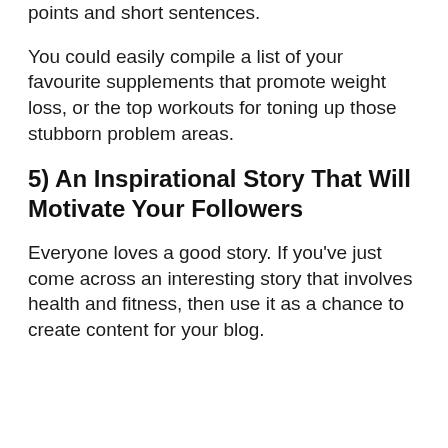points and short sentences.
You could easily compile a list of your favourite supplements that promote weight loss, or the top workouts for toning up those stubborn problem areas.
5) An Inspirational Story That Will Motivate Your Followers
Everyone loves a good story. If you've just come across an interesting story that involves health and fitness, then use it as a chance to create content for your blog.